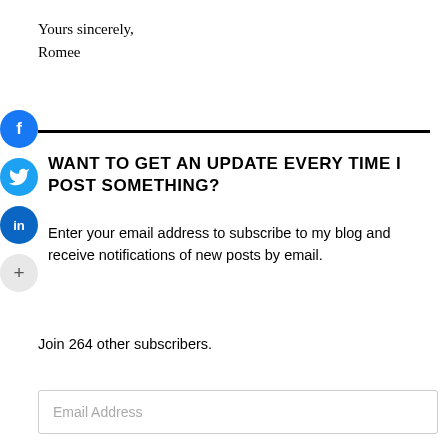Yours sincerely,
Romee
WANT TO GET AN UPDATE EVERY TIME I POST SOMETHING?
Enter your email address to subscribe to my blog and receive notifications of new posts by email.
Join 264 other subscribers.